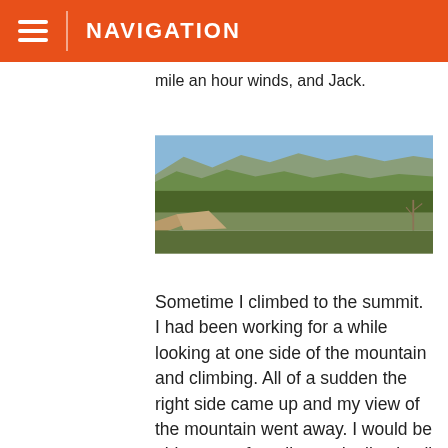NAVIGATION
mile an hour winds, and Jack.
[Figure (photo): Panoramic landscape photograph showing a desert scrubland with mountains in the background under a blue sky.]
Sometime I climbed to the summit. I had been working for a while looking at one side of the mountain and climbing. All of a sudden the right side came up and my view of the mountain went away. I would be able to see for miles and miles in all directions if I didn't have tears in my eyes. Could I be having my epiphany race moment on day one not even thirty miles into the race? Yes, yes I was. I was so emotional and thankful for the folks who had put me on top of the world. Sure it